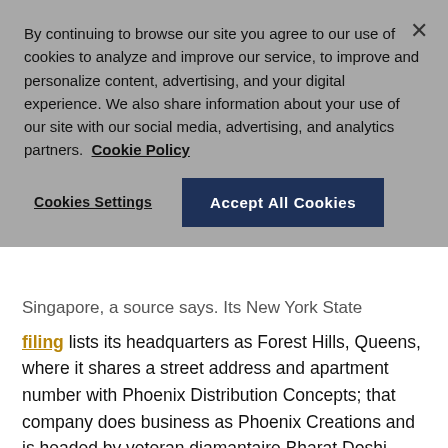By continuing to browse our site you agree to our use of cookies to analyze and improve our service, to improve and personalize content, advertising, and your digital experience. We also share information about your use of our site with our social media, advertising, and analytics partners.  Cookie Policy
Cookies Settings
Accept All Cookies
Singapore, a source says. Its New York State filing lists its headquarters as Forest Hills, Queens, where it shares a street address and apartment number with Phoenix Distribution Concepts; that company does business as Phoenix Creations and is headed by veteran diamantaire Bharat Doshi. Doshi didn't return JCK's phone calls or messages.
Still, Daisu...